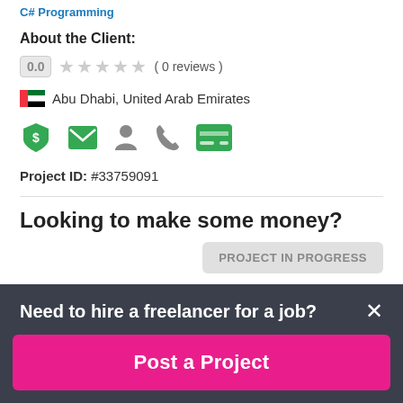C# Programming
About the Client:
0.0  ★★★★★ ( 0 reviews )
Abu Dhabi, United Arab Emirates
Project ID: #33759091
Looking to make some money?
PROJECT IN PROGRESS
Need to hire a freelancer for a job?
Post a Project